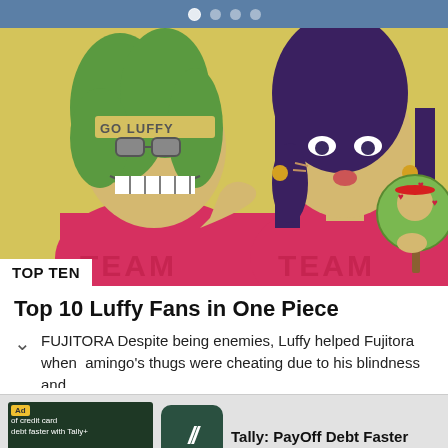navigation dots / carousel indicator
[Figure (illustration): Anime illustration showing two characters in pink/red 'TEAM' shirts on yellow background. Left character has green hair, wide grin, bandana reading 'GO LUFFY'. Right character has dark hair, holding a Luffy fan/mirror. White badge at bottom-left reads 'TOP TEN'.]
Top 10 Luffy Fans in One Piece
FUJITORA Despite being enemies, Luffy helped Fujitora when amingo's thugs were cheating due to his blindness and oed Luffy for his kindness During the Straw Hat Pirates and
[Figure (infographic): Advertisement banner for Tally: PayOff Debt Faster app. Shows a dark green ad image on the left with Ad label and text 'of credit card debt faster with Tally+', and the Tally app icon (dark green with italic double-slash mark) on the right with app name text.]
Tally: PayOff Debt Faster
INSTALL!